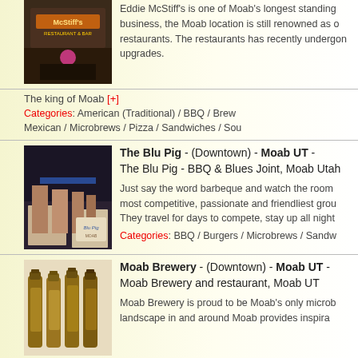[Figure (photo): Exterior photo of Eddie McStiff's Restaurant and Bar with illuminated sign at night]
Eddie McStiff's is one of Moab's longest standing business, the Moab location is still renowned as one of the restaurants. The restaurants has recently undergone upgrades.
The king of Moab [+]
Categories: American (Traditional) / BBQ / Brew Mexican / Microbrews / Pizza / Sandwiches / Sou
[Figure (photo): Interior photo of The Blu Pig BBQ restaurant showing table with menu]
The Blu Pig - (Downtown) - Moab UT - The Blu Pig - BBQ & Blues Joint, Moab Utah
Just say the word barbeque and watch the room most competitive, passionate and friendliest grou They travel for days to compete, stay up all night
Categories: BBQ / Burgers / Microbrews / Sandw
[Figure (photo): Photo of beer bottles at Moab Brewery]
Moab Brewery - (Downtown) - Moab UT - Moab Brewery and restaurant, Moab UT
Moab Brewery is proud to be Moab's only microb landscape in and around Moab provides inspira